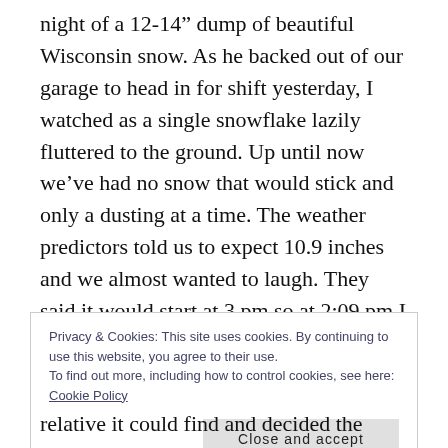night of a 12-14" dump of beautiful Wisconsin snow. As he backed out of our garage to head in for shift yesterday, I watched as a single snowflake lazily fluttered to the ground. Up until now we've had no snow that would stick and only a dusting at a time. The weather predictors told us to expect 10.9 inches and we almost wanted to laugh. They said it would start at 3 pm so at 2:09 pm I did laugh as the snow was doing all it could to tell the weather predictors who was boss. And
Privacy & Cookies: This site uses cookies. By continuing to use this website, you agree to their use.
To find out more, including how to control cookies, see here: Cookie Policy
relative it could find and decided the wind